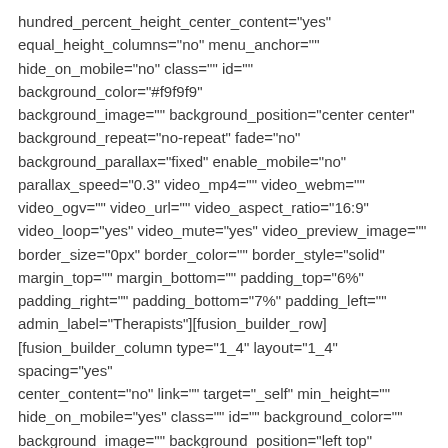hundred_percent_height_center_content="yes" equal_height_columns="no" menu_anchor="" hide_on_mobile="no" class="" id="" background_color="#f9f9f9" background_image="" background_position="center center" background_repeat="no-repeat" fade="no" background_parallax="fixed" enable_mobile="no" parallax_speed="0.3" video_mp4="" video_webm="" video_ogv="" video_url="" video_aspect_ratio="16:9" video_loop="yes" video_mute="yes" video_preview_image="" border_size="0px" border_color="" border_style="solid" margin_top="" margin_bottom="" padding_top="6%" padding_right="" padding_bottom="7%" padding_left="" admin_label="Therapists"][fusion_builder_row] [fusion_builder_column type="1_4" layout="1_4" spacing="yes" center_content="no" link="" target="_self" min_height="" hide_on_mobile="yes" class="" id="" background_color="" background_image="" background_position="left top" undefined="" background_repeat="no-repeat" hover_type="none" border_size="0" border_color="" border_style="solid" border_position="all" padding_top=""